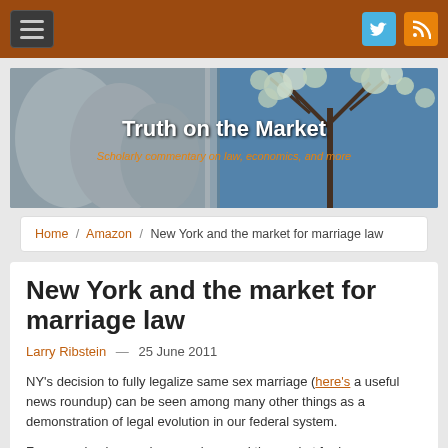Truth on the Market — Scholarly commentary on law, economics, and more
Home / Amazon / New York and the market for marriage law
New York and the market for marriage law
Larry Ribstein — 25 June 2011
NY's decision to fully legalize same sex marriage (here's a useful news roundup) can be seen among many other things as a demonstration of legal evolution in our federal system.
For some background on marriage and the market for law see Buckley and Ribstein (published 2001 Illinois Law Review 561)